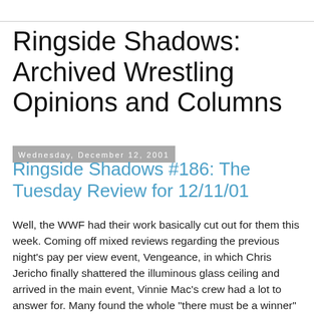Ringside Shadows: Archived Wrestling Opinions and Columns
Wednesday, December 12, 2001
Ringside Shadows #186: The Tuesday Review for 12/11/01
Well, the WWF had their work basically cut out for them this week. Coming off mixed reviews regarding the previous night's pay per view event, Vengeance, in which Chris Jericho finally shattered the illuminous glass ceiling and arrived in the main event, Vinnie Mac's crew had a lot to answer for. Many found the whole "there must be a winner" motif stripped of all its glory with an overbooked finish. Still more didn't feel Y2J's victory to be legitimate, as both his